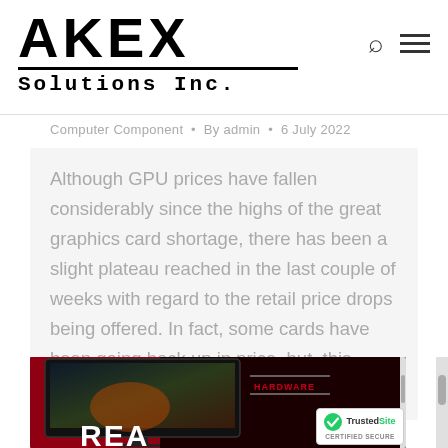AKEX Solutions Inc.
Computer Component · By admin · 6 July 2022
Although GPU prices have fallen considerably since the highs of the great graphics card shortage, there has been a slight plateau reached in the last couple of weeks with regard to the retail price drops being offered. In fact, some cards have been going back up in price, but, this could be due to Amazon…
[Figure (photo): Screenshot of a computer hardware website showing a monitor with a gaming scene displayed, red and dark background, with HARDWARE label overlay, REA text, and a TrustedSite Certified Secure badge in bottom right corner.]